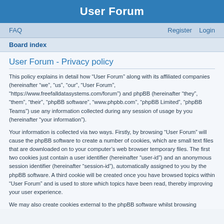User Forum
FAQ    Register    Login
Board index
User Forum - Privacy policy
This policy explains in detail how “User Forum” along with its affiliated companies (hereinafter “we”, “us”, “our”, “User Forum”, “https://www.freefalldatasystems.com/forum”) and phpBB (hereinafter “they”, “them”, “their”, “phpBB software”, “www.phpbb.com”, “phpBB Limited”, “phpBB Teams”) use any information collected during any session of usage by you (hereinafter “your information”).
Your information is collected via two ways. Firstly, by browsing “User Forum” will cause the phpBB software to create a number of cookies, which are small text files that are downloaded on to your computer’s web browser temporary files. The first two cookies just contain a user identifier (hereinafter “user-id”) and an anonymous session identifier (hereinafter “session-id”), automatically assigned to you by the phpBB software. A third cookie will be created once you have browsed topics within “User Forum” and is used to store which topics have been read, thereby improving your user experience.
We may also create cookies external to the phpBB software whilst browsing